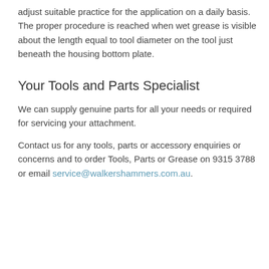adjust suitable practice for the application on a daily basis. The proper procedure is reached when wet grease is visible about the length equal to tool diameter on the tool just beneath the housing bottom plate.
Your Tools and Parts Specialist
We can supply genuine parts for all your needs or required for servicing your attachment.
Contact us for any tools, parts or accessory enquiries or concerns and to order Tools, Parts or Grease on 9315 3788 or email service@walkershammers.com.au.